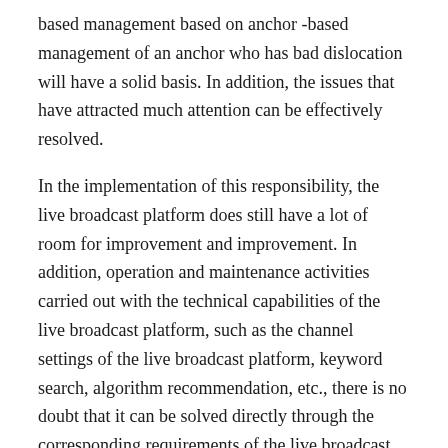based management based on anchor -based management of an anchor who has bad dislocation will have a solid basis. In addition, the issues that have attracted much attention can be effectively resolved.
In the implementation of this responsibility, the live broadcast platform does still have a lot of room for improvement and improvement. In addition, operation and maintenance activities carried out with the technical capabilities of the live broadcast platform, such as the channel settings of the live broadcast platform, keyword search, algorithm recommendation, etc., there is no doubt that it can be solved directly through the corresponding requirements of the live broadcast platform. For example, do not play the ball on the channel settings, and do not set fixed channels such as "sexy" and "temptation".